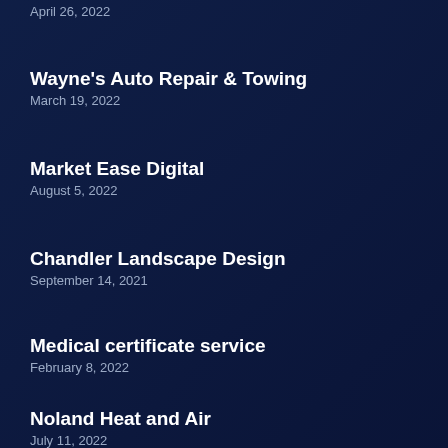April 26, 2022
Wayne's Auto Repair & Towing
March 19, 2022
Market Ease Digital
August 5, 2022
Chandler Landscape Design
September 14, 2021
Medical certificate service
February 8, 2022
Noland Heat and Air
July 11, 2022